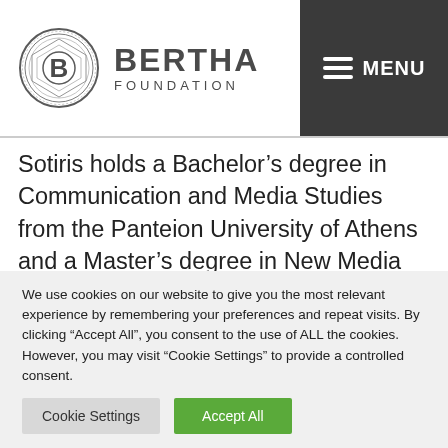[Figure (logo): Bertha Foundation logo with circular emblem and text 'BERTHA FOUNDATION']
Sotiris holds a Bachelor’s degree in Communication and Media Studies from the Panteion University of Athens and a Master’s degree in New Media and Digital Culture from the University of Amsterdam. In the summer of 2017, Sotiris was granted a scholarship from Stavros Niarchos Foundation to participate in Lede 12, a post-bac certification
We use cookies on our website to give you the most relevant experience by remembering your preferences and repeat visits. By clicking “Accept All”, you consent to the use of ALL the cookies. However, you may visit “Cookie Settings” to provide a controlled consent.